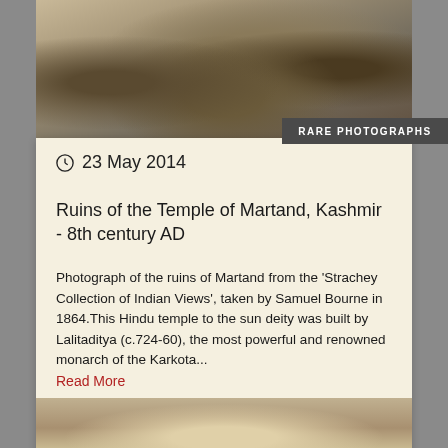[Figure (photo): Sepia photograph of ruins of the Temple of Martand, Kashmir, showing rocky debris and ruins on a hillside]
RARE PHOTOGRAPHS
23 May 2014
Ruins of the Temple of Martand, Kashmir - 8th century AD
Photograph of the ruins of Martand from the 'Strachey Collection of Indian Views', taken by Samuel Bourne in 1864.This Hindu temple to the sun deity was built by Lalitaditya (c.724-60), the most powerful and renowned monarch of the Karkota... Read More
FACEBOOK POST
[Figure (photo): Sepia photograph showing bottom portion of another historical image]